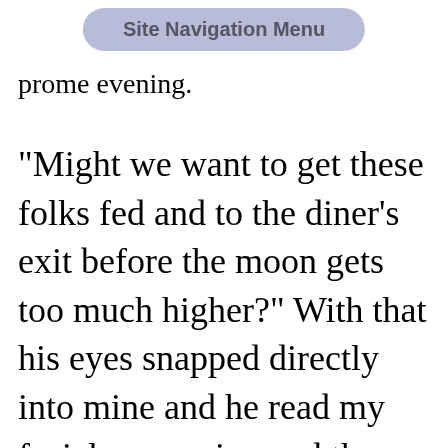Site Navigation Menu
prome evening.
"Might we want to get these folks fed and to the diner's exit before the moon gets too much higher?" With that his eyes snapped directly into mine and he read my facial expression and the worry behind my calm demeanor.